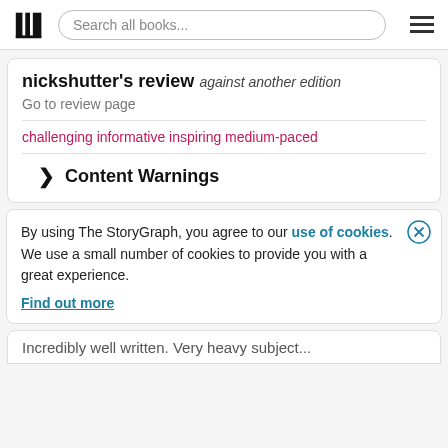Search all books...
nickshutter's review against another edition
Go to review page
challenging informative inspiring medium-paced
› Content Warnings
By using The StoryGraph, you agree to our use of cookies.
We use a small number of cookies to provide you with a great experience.
Find out more
Incredibly well written. Very heavy subject...